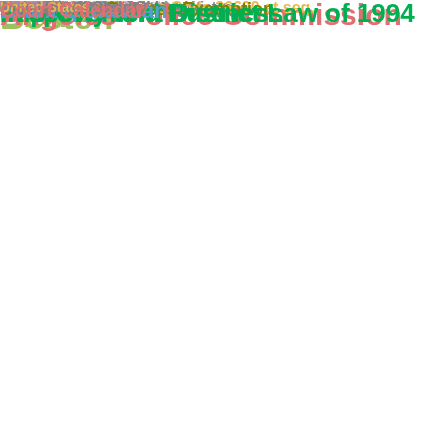[Figure (infographic): Word cloud related to Los Angeles government, legal, and community topics. Prominent terms include 'Property and Business Improvement District Law of 1994', 'Los Angeles Police Commission', 'Streets and Highways Code 36600 et seq.', 'Deliberative Process Exemption', 'Pretextual Arrests', 'Neighborhood Prosecutor', 'Blair Besten', 'Brant Blakeman', 'Street Photography', 'Principle of Charity', 'Dean Matsubayashi', 'United States', 'Appellate Court', 'Dropbox', '653b PC', 'Tiffany Criswell', 'Magnolia Charter Schools', 'Venice Community Housing', 'Metadata', and many others in various colors and sizes.]